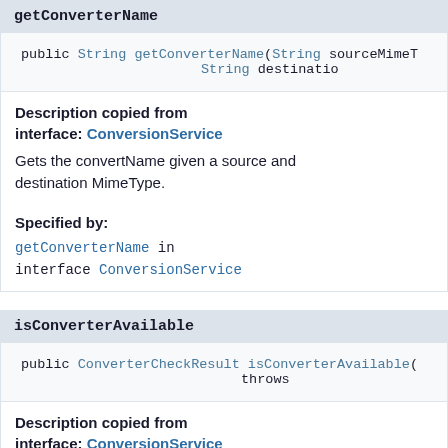getConverterName
public String getConverterName(String sourceMimeT
                                    String destination
Description copied from interface: ConversionService
Gets the convertName given a source and destination MimeType.
Specified by:
getConverterName in interface ConversionService
isConverterAvailable
public ConverterCheckResult isConverterAvailable(
                                          throws
Description copied from interface: ConversionService
Checks for converter availability.